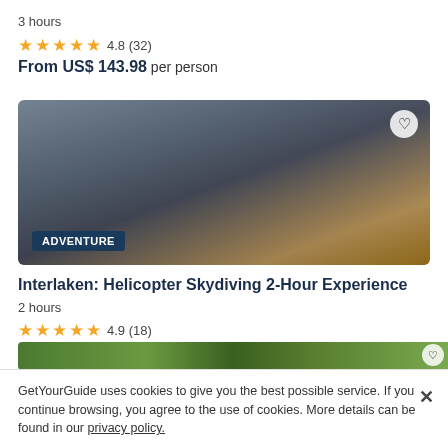3 hours
★★★★★ 4.8 (32)
From US$ 143.98 per person
[Figure (photo): Aerial/adventure photo showing snowy mountain terrain and a vehicle, with ADVENTURE badge overlay]
Interlaken: Helicopter Skydiving 2-Hour Experience
2 hours
★★★★★ 4.9 (18)
From US$ 492.02 per person
[Figure (photo): Partial view of a forest/treetop adventure photo at bottom of page]
GetYourGuide uses cookies to give you the best possible service. If you continue browsing, you agree to the use of cookies. More details can be found in our privacy policy.